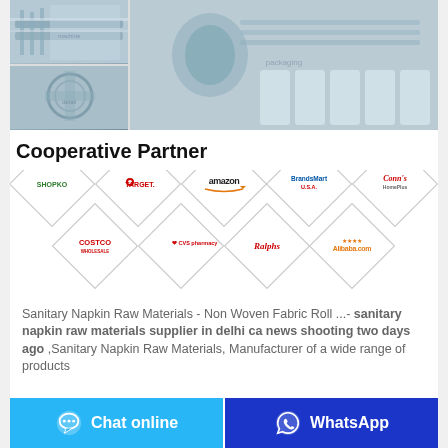[Figure (photo): Manufacturing machine photos — top-left: machine with green items on conveyor; bottom-left: close-up of machinery; right: packaging machine with white products]
Cooperative Partner
[Figure (infographic): Diamond-shaped logo grid showing cooperative partner brand logos: Shopko, Target, Amazon, BrandsMart USA, Conn's HomePlus (top row); Costco Wholesale, CVS pharmacy, Ralphs, Alibaba.com (bottom row)]
Sanitary Napkin Raw Materials - Non Woven Fabric Roll ...- sanitary napkin raw materials supplier in delhi ca news shooting two days ago ,Sanitary Napkin Raw Materials, Manufacturer of a wide range of products
Chat online | WhatsApp